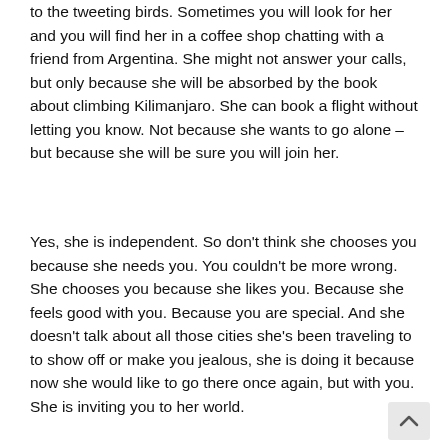to the tweeting birds. Sometimes you will look for her and you will find her in a coffee shop chatting with a friend from Argentina. She might not answer your calls, but only because she will be absorbed by the book about climbing Kilimanjaro. She can book a flight without letting you know. Not because she wants to go alone – but because she will be sure you will join her.
Yes, she is independent. So don't think she chooses you because she needs you. You couldn't be more wrong. She chooses you because she likes you. Because she feels good with you. Because you are special. And she doesn't talk about all those cities she's been traveling to to show off or make you jealous, she is doing it because now she would like to go there once again, but with you. She is inviting you to her world.